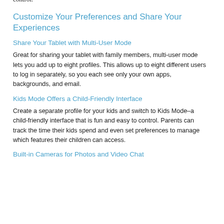control.
Customize Your Preferences and Share Your Experiences
Share Your Tablet with Multi-User Mode
Great for sharing your tablet with family members, multi-user mode lets you add up to eight profiles. This allows up to eight different users to log in separately, so you each see only your own apps, backgrounds, and email.
Kids Mode Offers a Child-Friendly Interface
Create a separate profile for your kids and switch to Kids Mode–a child-friendly interface that is fun and easy to control. Parents can track the time their kids spend and even set preferences to manage which features their children can access.
Built-in Cameras for Photos and Video Chat